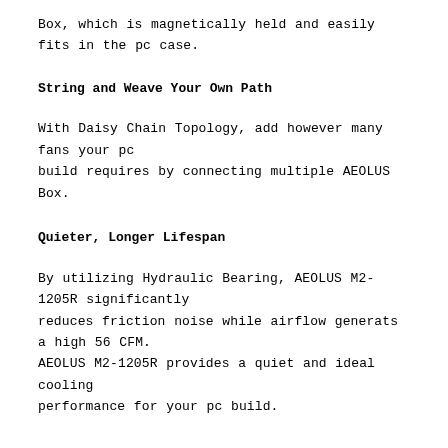Box, which is magnetically held and easily fits in the pc case.
String and Weave Your Own Path
With Daisy Chain Topology, add however many fans your pc build requires by connecting multiple AEOLUS Box.
Quieter, Longer Lifespan
By utilizing Hydraulic Bearing, AEOLUS M2-1205R significantly reduces friction noise while airflow generats a high 56 CFM. AEOLUS M2-1205R provides a quiet and ideal cooling performance for your pc build.
AEOLUS M2-1205R OVERVIEW
“Exceeding Silence”
Five ARGB fans, AEOLUS box, and a remote controller, are included in this package which will enrich your cooling and RGB customizing experience.